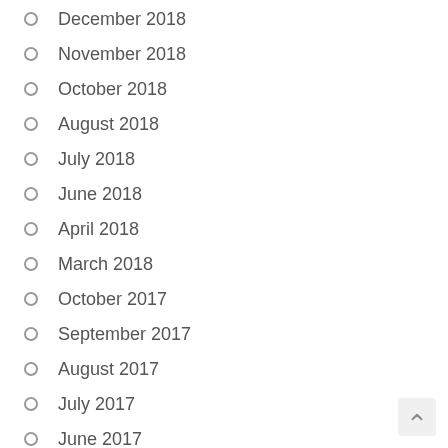December 2018
November 2018
October 2018
August 2018
July 2018
June 2018
April 2018
March 2018
October 2017
September 2017
August 2017
July 2017
June 2017
May 2017